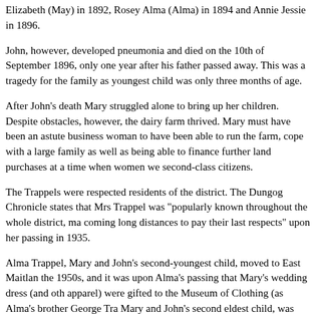Elizabeth (May) in 1892, Rosey Alma (Alma) in 1894 and Annie Jessie in 1896.
John, however, developed pneumonia and died on the 10th of September 1896, only one year after his father passed away. This was a tragedy for the family as youngest child was only three months of age.
After John’s death Mary struggled alone to bring up her children. Despite obstacles, however, the dairy farm thrived. Mary must have been an astute business woman to have been able to run the farm, cope with a large family as well as being able to finance further land purchases at a time when women were second-class citizens.
The Trappels were respected residents of the district. The Dungog Chronicle states that Mrs Trappel was “popularly known throughout the whole district, ma coming long distances to pay their last respects” upon her passing in 1935.
Alma Trappel, Mary and John’s second-youngest child, moved to East Maitland the 1950s, and it was upon Alma’s passing that Mary’s wedding dress (and oth apparel) were gifted to the Museum of Clothing (as Alma’s brother George Trap Mary and John’s second eldest child, was Museum of Clothing founder Nell Py husband Bruce’s grandfather).
How does this garment relate to the wider historical context?
Emigration from Germany (and in particular Rhineland) to the Hunter district wa prevalent in the nineteenth century, what with Australian’s abundance of food a much-improved living conditions. Wilhelm Kirchner, Counsul for Hamburg, wro